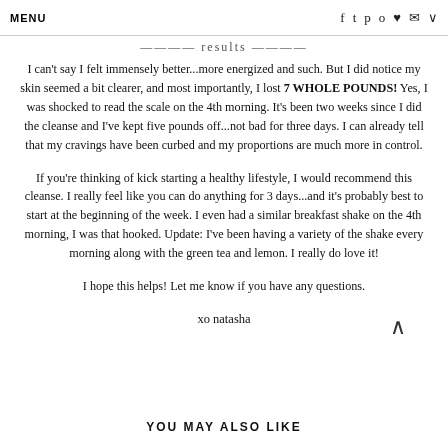MENU  f  t  p  o  ♥  ✉  ∨
results
I can't say I felt immensely better...more energized and such. But I did notice my skin seemed a bit clearer, and most importantly, I lost 7 WHOLE POUNDS!  Yes, I was shocked to read the scale on the 4th morning.  It's been two weeks since I did the cleanse and I've kept five pounds off...not bad for three days.  I can already tell that my cravings have been curbed and my proportions are much more in control.
If you're thinking of kick starting a healthy lifestyle, I would recommend this cleanse.  I really feel like you can do anything for 3 days...and it's probably best to start at the beginning of the week.  I even had a similar breakfast shake on the 4th morning, I was that hooked.  Update: I've been having a variety of the shake every morning along with the green tea and lemon.  I really do love it!
I hope this helps!  Let me know if you have any questions.
xo natasha
YOU MAY ALSO LIKE